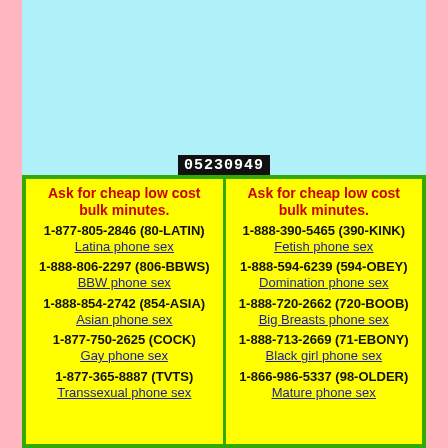05230949
| Left Column | Right Column |
| --- | --- |
| Ask for cheap low cost bulk minutes.
1-877-805-2846 (80-LATIN)
Latina phone sex
1-888-806-2297 (806-BBWS)
BBW phone sex
1-888-854-2742 (854-ASIA)
Asian phone sex
1-877-750-2625 (COCK)
Gay phone sex
1-877-365-8887 (TVTS)
Transsexual phone sex | Ask for cheap low cost bulk minutes.
1-888-390-5465 (390-KINK)
Fetish phone sex
1-888-594-6239 (594-OBEY)
Domination phone sex
1-888-720-2662 (720-BOOB)
Big Breasts phone sex
1-888-713-2669 (71-EBONY)
Black girl phone sex
1-866-986-5337 (98-OLDER)
Mature phone sex |